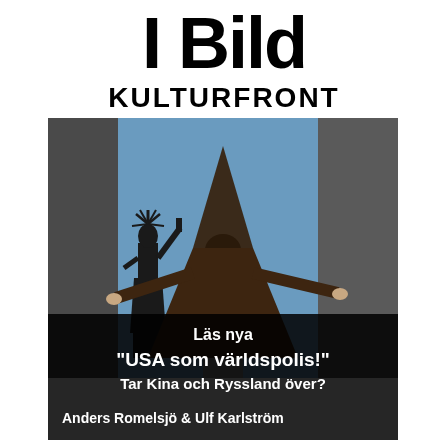I Bild KULTURFRONT
[Figure (illustration): Book or magazine cover image: silhouette of Statue of Liberty on left against blue sky, center figure is a person in brown robes with a pointed hood/dunce cap standing with arms spread. Dark semi-transparent overlay at bottom contains text. Swedish text overlay reads: 'Läs nya "USA som världspolis!" Tar Kina och Ryssland över?' Authors: Anders Romelsjö & Ulf Karlström]